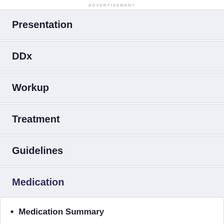ADVERTISEMENT
Presentation
DDx
Workup
Treatment
Guidelines
Medication
Medication Summary
Nonsteroidal anti-inflammatory drugs (NSAIDs)
Corticosteroids